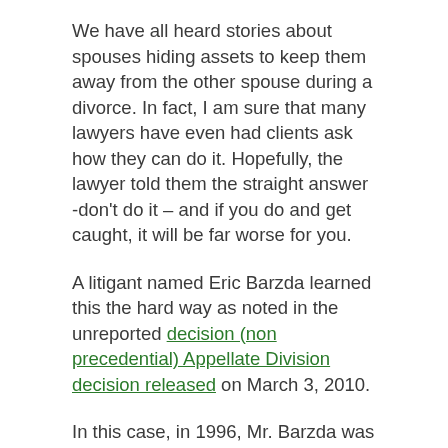We have all heard stories about spouses hiding assets to keep them away from the other spouse during a divorce.  In fact, I am sure that many lawyers have even had clients ask how they can do it.  Hopefully, the lawyer told them the straight answer -don't do it – and if you do and get caught, it will be far worse for you.
A litigant named Eric Barzda learned this the hard way as noted in the unreported decision (non precedential) Appellate Division decision released on March 3, 2010.
In this case, in 1996, Mr. Barzda was  was going through a divorce proceedings with his former wife.  While the divorce  was pending and even thereafter, he feared that his wife would assert a claim against property in Hightstown he acquired